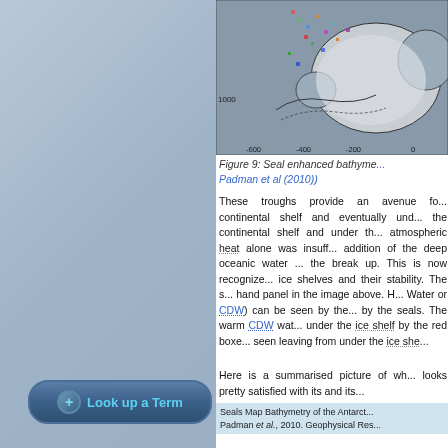[Figure (map): Seal enhanced bathymetry map showing Antarctic continental shelf, with colored overlays indicating ocean temperature/CDW data and depth contours. X-axis labels: -600, -400, -200, 0. Depth label: 1000.]
Figure 9: Seal enhanced bathyme... Padman et al (2010))
These troughs provide an avenue fo... continental shelf and eventually und... the continental shelf and under th... atmospheric heat alone was insuff... addition of the deep oceanic water ... the break up. This is now recognize... ice shelves and their stability. The s... hand panel in the image above. H... Water or CDW) can be seen by the... by the seals. The warm CDW wat... under the ice shelf by the red boxe... seen leaving from under the ice she...
Here is a summarised picture of wh... looks pretty satisfied with its and its...
Seals Map Bathymetry of the Antarct... Padman et al., 2010. Geophysical Res...
Look up a Term